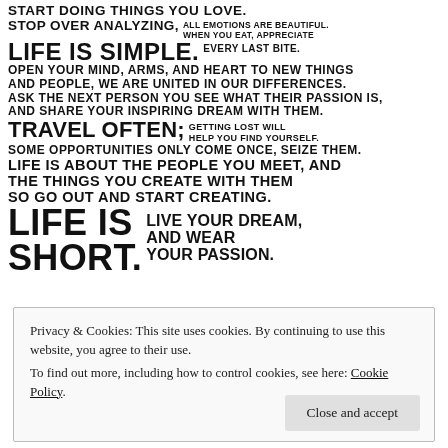[Figure (infographic): Motivational quote poster with mixed font sizes in bold uppercase sans-serif text. Text includes: START DOING THINGS YOU LOVE. STOP OVER ANALYZING, ALL EMOTIONS ARE BEAUTIFUL. WHEN YOU EAT, APPRECIATE LIFE IS SIMPLE. EVERY LAST BITE. OPEN YOUR MIND, ARMS, AND HEART TO NEW THINGS AND PEOPLE, WE ARE UNITED IN OUR DIFFERENCES. ASK THE NEXT PERSON YOU SEE WHAT THEIR PASSION IS, AND SHARE YOUR INSPIRING DREAM WITH THEM. TRAVEL OFTEN; GETTING LOST WILL HELP YOU FIND YOURSELF. SOME OPPORTUNITIES ONLY COME ONCE, SEIZE THEM. LIFE IS ABOUT THE PEOPLE YOU MEET, AND THE THINGS YOU CREATE WITH THEM SO GO OUT AND START CREATING. LIFE IS LIVE YOUR DREAM, SHORT. AND WEAR YOUR PASSION.]
Privacy & Cookies: This site uses cookies. By continuing to use this website, you agree to their use. To find out more, including how to control cookies, see here: Cookie Policy